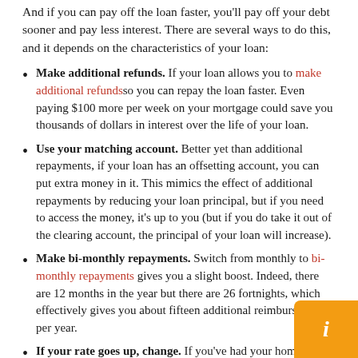And if you can pay off the loan faster, you'll pay off your debt sooner and pay less interest. There are several ways to do this, and it depends on the characteristics of your loan:
Make additional refunds. If your loan allows you to make additional refunds so you can repay the loan faster. Even paying $100 more per week on your mortgage could save you thousands of dollars in interest over the life of your loan.
Use your matching account. Better yet than additional repayments, if your loan has an offsetting account, you can put extra money in it. This mimics the effect of additional repayments by reducing your loan principal, but if you need to access the money, it's up to you (but if you do take it out of the clearing account, the principal of your loan will increase).
Make bi-monthly repayments. Switch from monthly to bi-monthly repayments gives you a slight boost. Indeed, there are 12 months in the year but there are 26 fortnights, which effectively gives you about fifteen additional reimbursements per year.
If your rate goes up, change. If you've had your home loan for a few years, you might be surprised at your current rate. Yes, rates